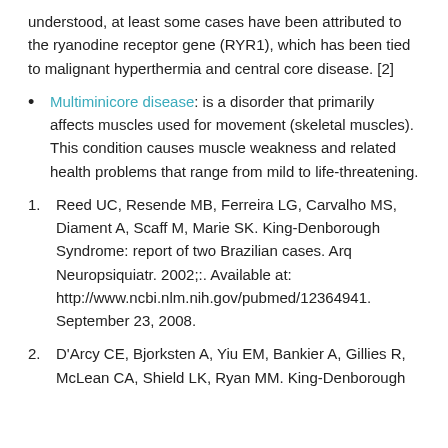understood, at least some cases have been attributed to the ryanodine receptor gene (RYR1), which has been tied to malignant hyperthermia and central core disease. [2]
Multiminicore disease: is a disorder that primarily affects muscles used for movement (skeletal muscles). This condition causes muscle weakness and related health problems that range from mild to life-threatening.
1. Reed UC, Resende MB, Ferreira LG, Carvalho MS, Diament A, Scaff M, Marie SK. King-Denborough Syndrome: report of two Brazilian cases. Arq Neuropsiquiatr. 2002;:. Available at: http://www.ncbi.nlm.nih.gov/pubmed/12364941. September 23, 2008.
2. D'Arcy CE, Bjorksten A, Yiu EM, Bankier A, Gillies R, McLean CA, Shield LK, Ryan MM. King-Denborough